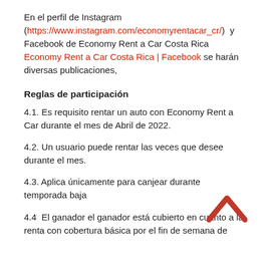En el perfil de Instagram (https://www.instagram.com/economyrentacar_cr/)  y Facebook de Economy Rent a Car Costa Rica Economy Rent a Car Costa Rica | Facebook se harán diversas publicaciones,
Reglas de participación
4.1. Es requisito rentar un auto con Economy Rent a Car durante el mes de Abril de 2022.
4.2. Un usuario puede rentar las veces que desee durante el mes.
4.3. Aplica únicamente para canjear durante temporada baja
4.4  El ganador el ganador está cubierto en cuanto a la renta con cobertura básica por el fin de semana de